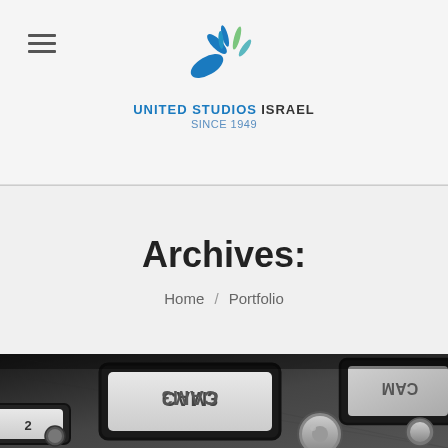[Figure (logo): United Studios Israel Since 1949 logo with blue and teal burst/splash graphic above the text]
Archives:
Home / Portfolio
[Figure (photo): Black and white close-up photo of a camera control panel with buttons labeled CAM2, CAM3 and other controls]